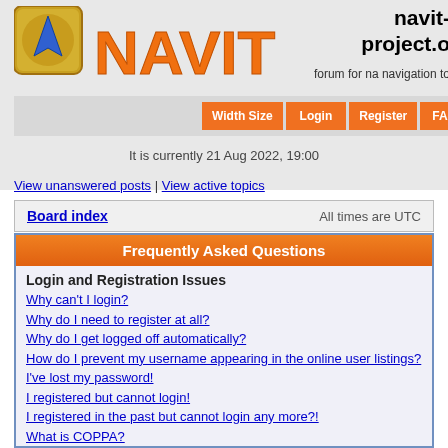[Figure (logo): Navit project logo with blue arrow icon and orange NAVIT text]
navit-project.o
forum for na navigation to
It is currently 21 Aug 2022, 19:00
View unanswered posts | View active topics
| Board index | All times are UTC |
| --- | --- |
Frequently Asked Questions
Login and Registration Issues
Why can't I login?
Why do I need to register at all?
Why do I get logged off automatically?
How do I prevent my username appearing in the online user listings?
I've lost my password!
I registered but cannot login!
I registered in the past but cannot login any more?!
What is COPPA?
Why can't I register?
What does the “Delete all board cookies” do?
User Preferences and settings
How do I change my settings?